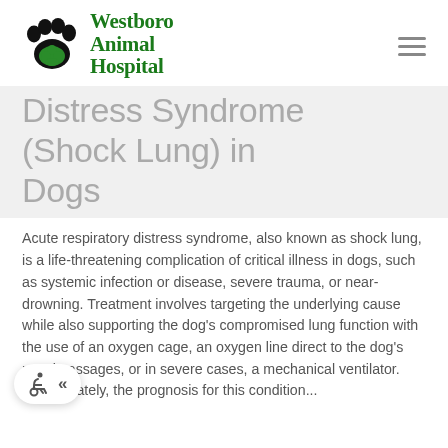[Figure (logo): Westboro Animal Hospital logo with paw print and animal silhouette]
Distress Syndrome (Shock Lung) in Dogs
Acute respiratory distress syndrome, also known as shock lung, is a life-threatening complication of critical illness in dogs, such as systemic infection or disease, severe trauma, or near-drowning. Treatment involves targeting the underlying cause while also supporting the dog's compromised lung function with the use of an oxygen cage, an oxygen line direct to the dog's nasal passages, or in severe cases, a mechanical ventilator. Unfortunately, the prognosis for this condition...